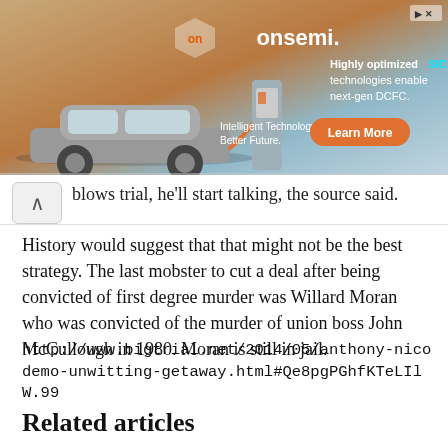[Figure (screenshot): Advertisement banner for onsemi featuring an electric car charging station with text 'Highly optimized SIC technologies enable next-gen DCFC.' and a 'Learn More' button.]
blows trial, he'll start talking, the source said.
History would suggest that that might not be the best strategy. The last mobster to cut a deal after being convicted of first degree murder was Willard Moran who was convicted of the murder of union boss John McCullough in 1980. Moran is still in jail.
http://www.bigtrial.net/2014/05/anthony-nicodemo-unwitting-getaway.html#Qe8pgPGhfKTeLIlW.99
Related articles